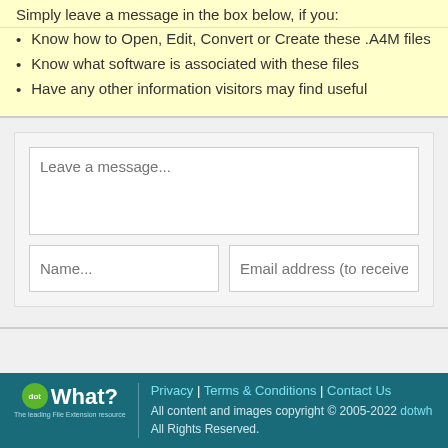Simply leave a message in the box below, if you:
Know how to Open, Edit, Convert or Create these .A4M files
Know what software is associated with these files
Have any other information visitors may find useful
[Figure (screenshot): Web form with message textarea and name/email input fields]
Privacy | Terms & Conditions | Contact Us | All content and images copyright © 2005-2022 dotwhat. All Rights Reserved.